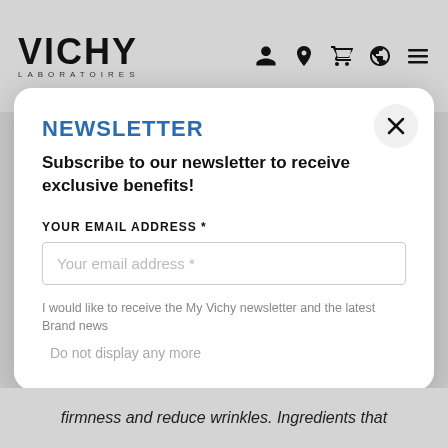VICHY LABORATOIRES
NEWSLETTER
Subscribe to our newsletter to receive exclusive benefits!
YOUR EMAIL ADDRESS *
Your email address *
I would like to receive the My Vichy newsletter and the latest Brand news
Do not display any more
firmness and reduce wrinkles. Ingredients that